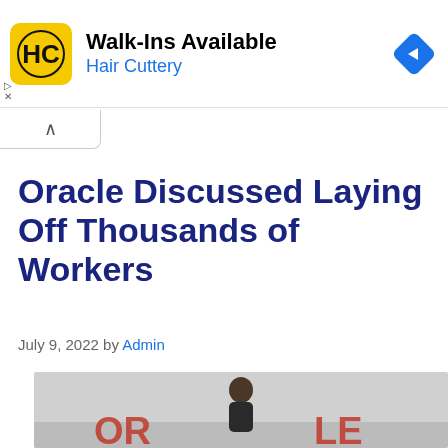[Figure (other): Hair Cuttery advertisement banner with HC logo, 'Walk-Ins Available' headline, and navigation arrow icon]
Oracle Discussed Laying Off Thousands of Workers
July 9, 2022 by Admin
[Figure (photo): Photo of a man speaking at an Oracle event, with Oracle logo visible in background]